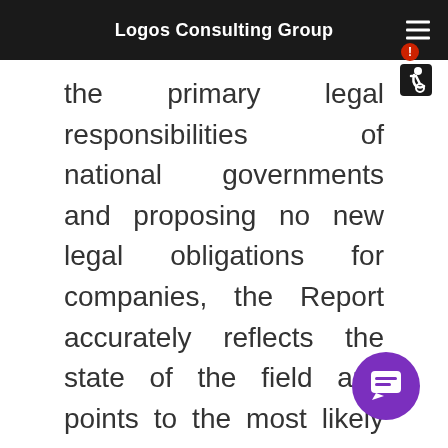Logos Consulting Group
the primary legal responsibilities of national governments and proposing no new legal obligations for companies, the Report accurately reflects the state of the field and points to the most likely areas of future business and human rights initiatives.
MAY 29, 2008  /  BY ANTHONY EWING